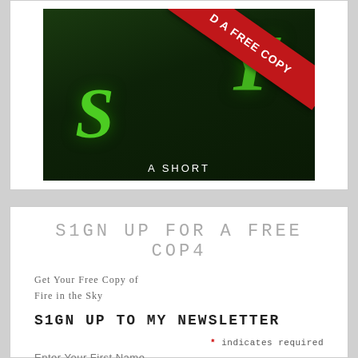[Figure (illustration): Book cover banner for 'Fire in the Sky' with dark green background, large stylized 'S' letter in green, a red diagonal ribbon banner reading 'D A FREE COPY', and subtitle text 'A SHORT' at the bottom]
SIGN UP FOR A FREE COPY
Get Your Free Copy of Fire in the Sky
SIGN UP TO MY NEWSLETTER
* indicates required
Enter Your First Name